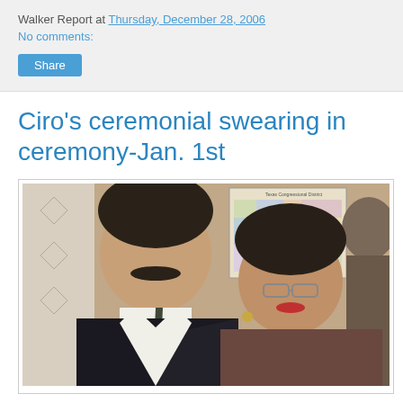Walker Report at Thursday, December 28, 2006
No comments:
Share
Ciro's ceremonial swearing in ceremony-Jan. 1st
[Figure (photo): Photo of two people smiling at the camera. A man with dark hair and mustache wearing a dark suit on the left, and a woman with short dark hair and glasses on the right. A colorful Texas Congressional District map is visible in the background, along with another person partially visible at the far right.]